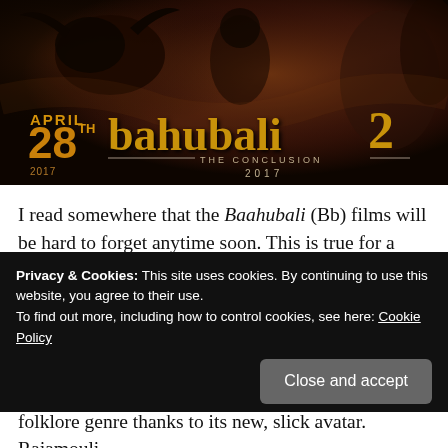[Figure (photo): Baahubali 2: The Conclusion movie promotional banner showing warriors and a bull, with text 'April 28th 2017 Bahubali 2 The Conclusion 2017']
I read somewhere that the Baahubali (Bb) films will be hard to forget anytime soon. This is true for a number of reasons, both good and bad. One of the better reasons, in my opinion, is that the film's director S.S. Rajamouli has got the attention of the “Non-South” through sheer force
Privacy & Cookies: This site uses cookies. By continuing to use this website, you agree to their use.
To find out more, including how to control cookies, see here: Cookie Policy
folklore genre thanks to its new, slick avatar. Rajamouli